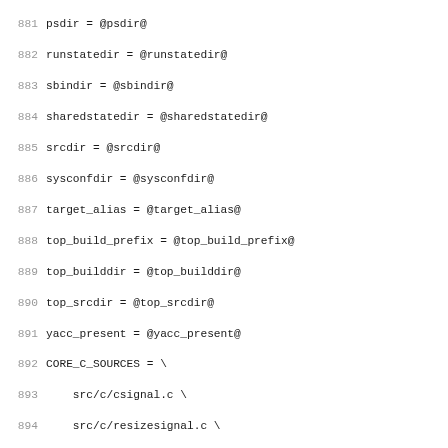881 psdir = @psdir@
882 runstatedir = @runstatedir@
883 sbindir = @sbindir@
884 sharedstatedir = @sharedstatedir@
885 srcdir = @srcdir@
886 sysconfdir = @sysconfdir@
887 target_alias = @target_alias@
888 top_build_prefix = @top_build_prefix@
889 top_builddir = @top_builddir@
890 top_srcdir = @top_srcdir@
891 yacc_present = @yacc_present@
892 CORE_C_SOURCES = \
893     src/c/csignal.c \
894     src/c/resizesignal.c \
895     src/c/getmodules.c \
896     src/c/getmemory.c \
897     src/c/isanan.c \
898     src/c/returnanan.c \
899     src/c/loadversion.c \
900     src/c/version.c \
901     src/c/GetXmlFileEncoding.c \
902     src/c/islittleendian.c \
903     src/c/getcommandlineargs.c \
904     src/c/commandwords.c \
905     src/c/freeArrayOfString.c \
906     src/c/getstaticdebuginfo.c \
907     src/c/getdynamicdebuginfo.c \
908     src/c/dynamic_gateways.c \
909     src/c/setPrecisionFPU.c \
910     src/c/getos.c \
911     src/c/transposeMatrix.c \
912     src/c/getversion.c \